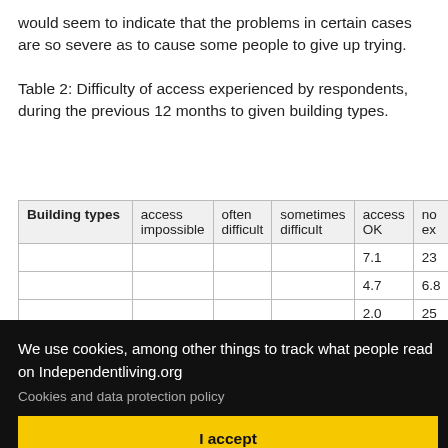would seem to indicate that the problems in certain cases are so severe as to cause some people to give up trying.
Table 2: Difficulty of access experienced by respondents, during the previous 12 months to given building types.
| Building types | access impossible | often difficult | sometimes difficult | access OK | no ex... |
| --- | --- | --- | --- | --- | --- |
|  |  |  |  | 7.1 | 23 |
|  |  |  |  | 4.7 | 6.8 |
|  |  |  |  | 2.0 | 25 |
|  |  |  |  | 2.6 | 48 |
|  |  |  |  | 5.6 | 64 |
|  |  |  |  | 3.7 | 24 |
| Theatre/Cinema % | 5.5 | 16.1 | 16.1 | 25.0 | 36 |